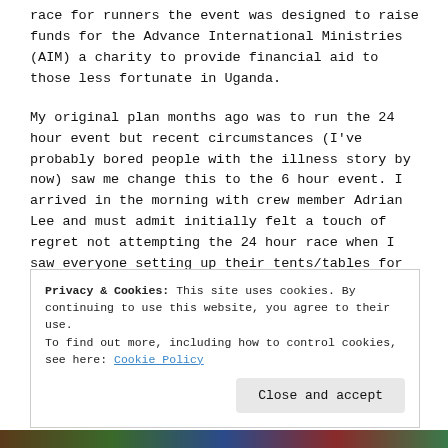race for runners the event was designed to raise funds for the Advance International Ministries (AIM) a charity to provide financial aid to those less fortunate in Uganda.
My original plan months ago was to run the 24 hour event but recent circumstances (I've probably bored people with the illness story by now) saw me change this to the 6 hour event. I arrived in the morning with crew member Adrian Lee and must admit initially felt a touch of regret not attempting the 24 hour race when I saw everyone setting up their tents/tables for the weekend.
I registered and bumped in lots of familiar faces before getting my gear organised for the event.
Privacy & Cookies: This site uses cookies. By continuing to use this website, you agree to their use.
To find out more, including how to control cookies, see here: Cookie Policy